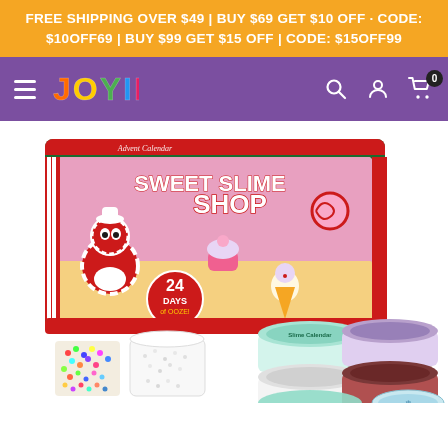FREE SHIPPING OVER $49 | BUY $69 GET $10 OFF · CODE: $10OFF69 | BUY $99 GET $15 OFF | CODE: $15OFF99
[Figure (screenshot): Navigation bar with purple background showing hamburger menu, JOYIN logo in colorful text, search icon, user/account icon, and cart icon with 0 badge]
[Figure (photo): Product photo of Joyin Sweet Slime Shop Advent Calendar box (green box with candy/slime characters, '24 Days of Ooze' label) alongside multiple slime containers in teal, white, purple, dark red colors, plus colorful beads and foam accessories spilling out in front.]